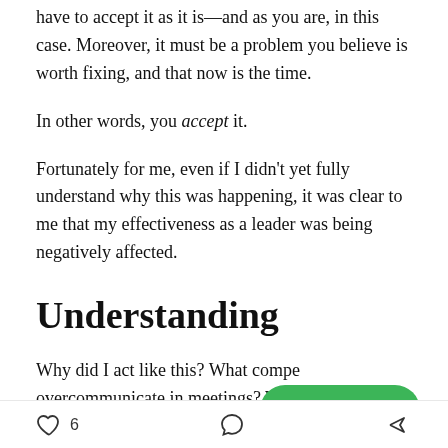have to accept it as it is—and as you are, in this case. Moreover, it must be a problem you believe is worth fixing, and that now is the time.
In other words, you accept it.
Fortunately for me, even if I didn't yet fully understand why this was happening, it was clear to me that my effectiveness as a leader was being negatively affected.
Understanding
Why did I act like this? What compe… overcommunicate in meetings? Why couldn't I help …
6